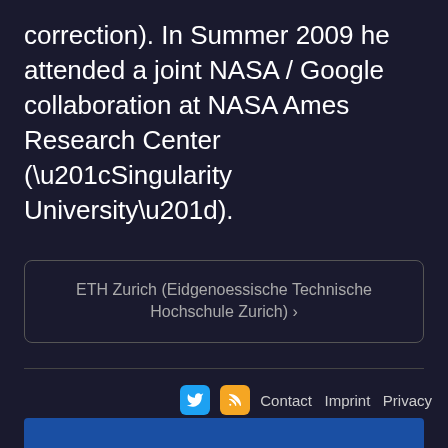correction). In Summer 2009 he attended a joint NASA / Google collaboration at NASA Ames Research Center (“Singularity University”).
ETH Zurich (Eidgenoessische Technische Hochschule Zurich) ›
Contact  Imprint  Privacy